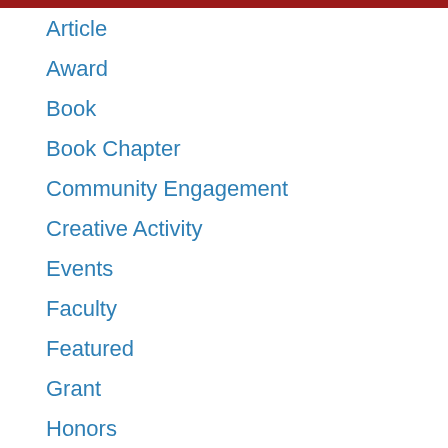Article
Award
Book
Book Chapter
Community Engagement
Creative Activity
Events
Faculty
Featured
Grant
Honors
In-Progress
Media